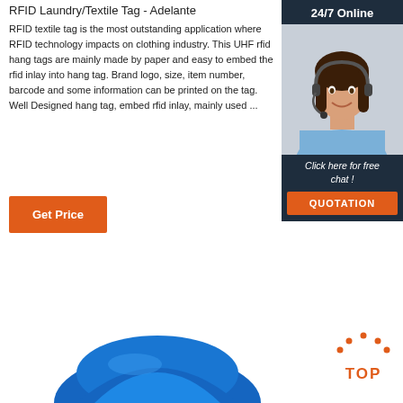RFID Laundry/Textile Tag - Adelante
RFID textile tag is the most outstanding application where RFID technology impacts on clothing industry. This UHF rfid hang tags are mainly made by paper and easy to embed the rfid inlay into hang tag. Brand logo, size, item number, barcode and some information can be printed on the tag. Well Designed hang tag, embed rfid inlay, mainly used ...
[Figure (other): Orange 'Get Price' button]
[Figure (photo): Customer service representative with headset, 24/7 Online chat widget with 'Click here for free chat!' text and orange QUOTATION button]
[Figure (photo): Blue RFID textile/laundry tag product photo at the bottom of the page]
[Figure (other): Orange TOP button with dot arc above, linking to top of page]